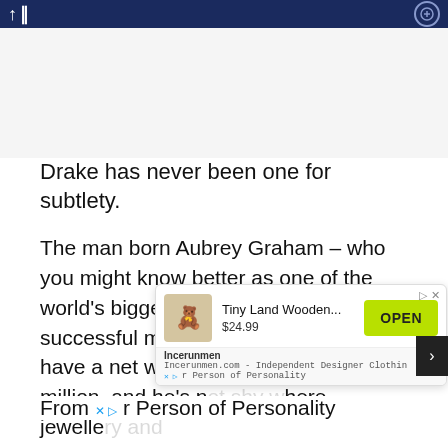Drake has never been one for subtlety.
The man born Aubrey Graham – who you might know better as one of the world's biggest celebrities and most successful musicians – is rumoured to have a net worth in excess of US$250 million, and he's n[ot shy about where he spends it. From jewelle[ry to...]
[Figure (screenshot): Advertisement overlay for 'Tiny Land Wooden...' priced at $24.99 with green OPEN button, Incerunmen branding, and tagline 'r Person of Personality']
From [Incerunmen] r Person of Personality